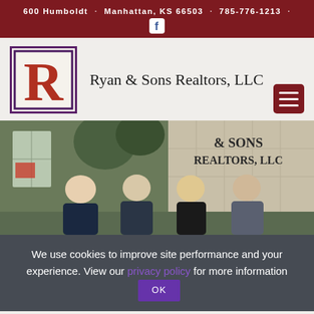600 Humboldt · Manhattan, KS 66503 · 785-776-1213 ·
Ryan & Sons Realtors, LLC
[Figure (photo): Group photo of four people standing in front of a building with '& SONS REALTORS, LLC' signage]
We use cookies to improve site performance and your experience. View our privacy policy for more information OK